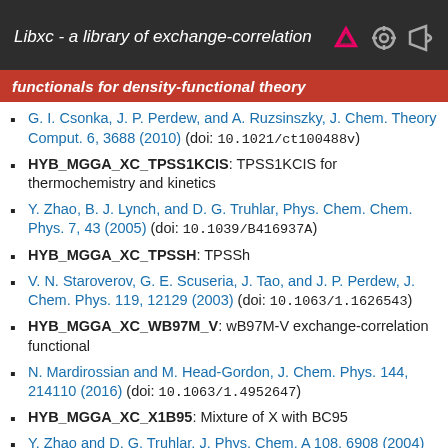Libxc - a library of exchange-correlation functionals for density-functional theory
G. I. Csonka, J. P. Perdew, and A. Ruzsinszky, J. Chem. Theory Comput. 6, 3688 (2010) (doi: 10.1021/ct100488v)
HYB_MGGA_XC_TPSS1KCIS: TPSS1KCIS for thermochemistry and kinetics
Y. Zhao, B. J. Lynch, and D. G. Truhlar, Phys. Chem. Chem. Phys. 7, 43 (2005) (doi: 10.1039/B416937A)
HYB_MGGA_XC_TPSSH: TPSSh
V. N. Staroverov, G. E. Scuseria, J. Tao, and J. P. Perdew, J. Chem. Phys. 119, 12129 (2003) (doi: 10.1063/1.1626543)
HYB_MGGA_XC_WB97M_V: wB97M-V exchange-correlation functional
N. Mardirossian and M. Head-Gordon, J. Chem. Phys. 144, 214110 (2016) (doi: 10.1063/1.4952647)
HYB_MGGA_XC_X1B95: Mixture of X with BC95
Y. Zhao and D. G. Truhlar, J. Phys. Chem. A 108, 6908 (2004) (doi: 10.1021/jp048147q)
HYB_MGGA_XC_XB1K: Mixture of X with BC95 for